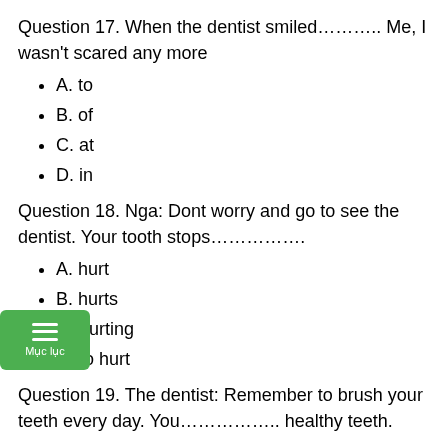Question 17. When the dentist smiled……….. Me, I wasn't scared any more
A. to
B. of
C. at
D. in
Question 18. Nga: Dont worry and go to see the dentist. Your tooth stops…………..
A. hurt
B. hurts
C. hurting
D. to hurt
Question 19. The dentist: Remember to brush your teeth every day. You…………….. healthy teeth.